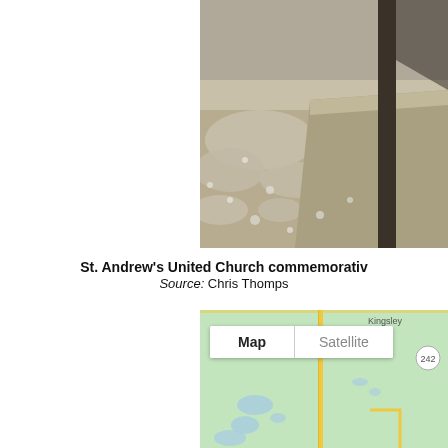[Figure (photo): Close-up photo of a stone or concrete commemorative marker/base with a cross post, surrounded by snow-dusted ground with brown grass visible.]
St. Andrew's United Church commemorativ... Source: Chris Thomps...
[Figure (map): Google Maps screenshot showing a rural area near Kingsley with a Map/Satellite toggle button visible. Green terrain with yellow roads and blue water bodies. Route 242 visible in the upper right.]